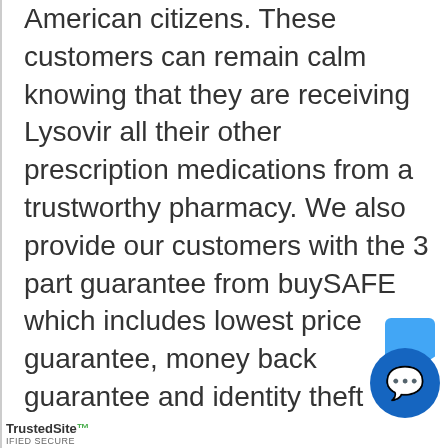American citizens. These customers can remain calm knowing that they are receiving Lysovir all their other prescription medications from a trustworthy pharmacy. We also provide our customers with the 3 part guarantee from buySAFE which includes lowest price guarantee, money back guarantee and identity theft protection.
Customers can order Lysovir online and many other quality medications from PharmaPassport.com at an affordable price. This online pharmacy allows you to purchase Lysovir 24 hours a day and 7 days a week. Once you order with us you can rest easy since we pride our self with liable safe shipping. It takes approximately 3 to 4 weeks from the day
TrustedSite CERTIFIED SECURE